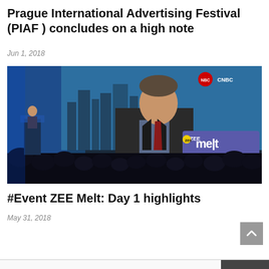Prague International Advertising Festival (PIAF ) concludes on a high note
Jun 1, 2018
[Figure (photo): Conference hall photo showing a man in a suit on a large screen display with 'ZEE melt' logo in the corner; audience silhouettes in foreground; a speaker at a podium on the left side against a blue-lit background.]
#Event ZEE Melt: Day 1 highlights
May 31, 2018